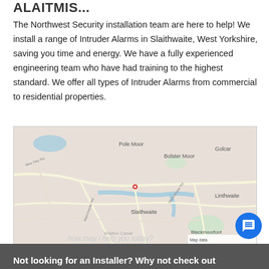...ALAITIS...
The Northwest Security installation team are here to help! We install a range of Intruder Alarms in Slaithwaite, West Yorkshire, saving you time and energy. We have a fully experienced engineering team who have had training to the highest standard. We offer all types of Intruder Alarms from commercial to residential properties.
[Figure (map): Google Map showing Slaithwaite area, West Yorkshire, UK. Notable labels include Pole Moor, Bolster Moor, Golcar, Linthwaite, Blackmoorfoot, and Slaithwaite with a red location pin marker.]
Not looking for an Installer? Why not check out